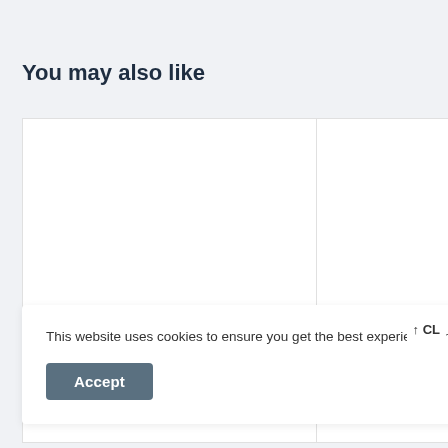You may also like
[Figure (other): Two white card panels side by side (left panel wider, right panel narrower), both empty placeholder cards]
This website uses cookies to ensure you get the best experience on our website.
Accept
[Figure (other): Two white card panels side by side at bottom of page, both empty placeholder cards]